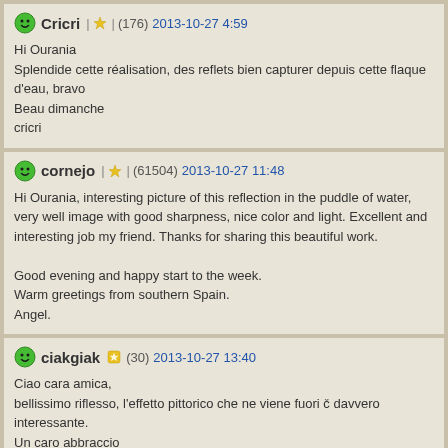Cricri | ★ | (176) 2013-10-27 4:59
Hi Ourania
Splendide cette réalisation, des reflets bien capturer depuis cette flaque d'eau, bravo
Beau dimanche
cricri
cornejo | ★ | (61504) 2013-10-27 11:48
Hi Ourania, interesting picture of this reflection in the puddle of water, very well image with good sharpness, nice color and light. Excellent and interesting job my friend. Thanks for sharing this beautiful work.

Good evening and happy start to the week.
Warm greetings from southern Spain.
Angel.
ciakgiak ★ (30) 2013-10-27 13:40
Ciao cara amica,
bellissimo riflesso, l'effetto pittorico che ne viene fuori č davvero interessante.
Un caro abbraccio
Giorgio